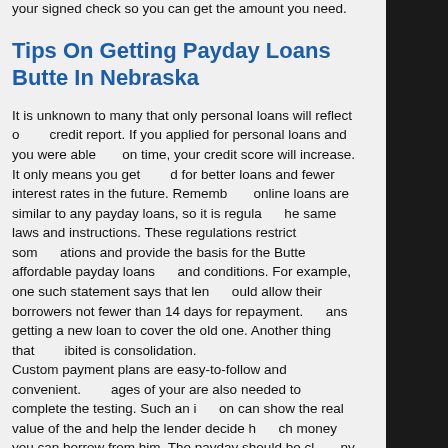your signed check so you can get the amount you need.
Tips On Getting Payday Loans Butte In Nebraska
It is unknown to many that only personal loans will reflect on your credit report. If you applied for personal loans and you were able to pay on time, your credit score will increase. It only means you get qualified for better loans and fewer interest rates in the future. Remember, online loans are similar to any payday loans, so it is regulated by the same laws and instructions. These regulations restrict some operations and provide the basis for the Butte affordable payday loans terms and conditions. For example, one such statement says that lenders should allow their borrowers not fewer than 14 days for repayment. Loans getting a new loan to cover the old one. Another thing that is prohibited is consolidation.
Custom payment plans are easy-to-follow and convenient. Images of your are also needed to complete the testing. Such an inspection can show the real value of the and help the lender decide how much money you can borrow from him. The payday should be clear of any other liens and be registered in your name.
And you need a working car to get to work and produce income. Just like payday or title loans, quick installment loans are pretty popular in Butte, Nebraska . Although opinions regarding fast loans vary, it is hard to find a better way to manage finances. Unexpected purchases or